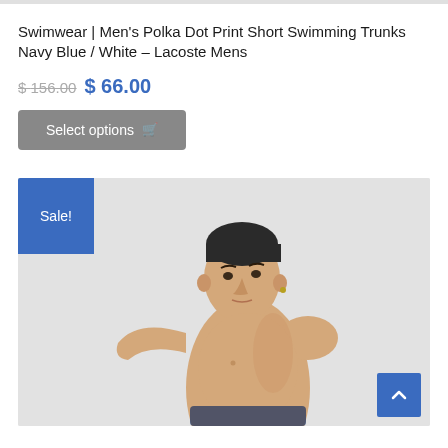Swimwear | Men's Polka Dot Print Short Swimming Trunks Navy Blue / White – Lacoste Mens
$ 156.00 $ 66.00
Select options
[Figure (photo): A male model with short dark hair, shirtless, posed against a light grey background. A blue 'Sale!' badge appears in the top-left corner of the image.]